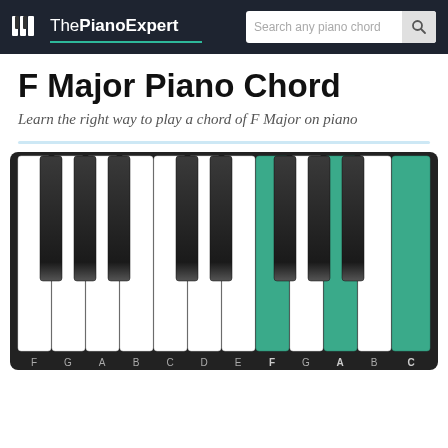ThePianoExpert | Search any piano chord
F Major Piano Chord
Learn the right way to play a chord of F Major on piano
[Figure (illustration): Piano keyboard diagram showing keys F A C highlighted in teal/green color, with white and black keys labeled F G A B C D E F G A B C at the bottom. The F Major chord keys (F, A, C) are highlighted in teal.]